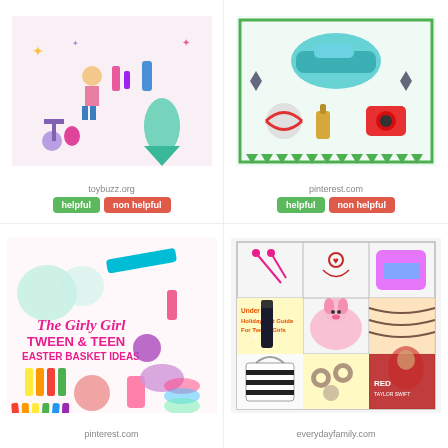[Figure (photo): Collage of girl toys and accessories (mermaid tail, dolls, scooter, makeup, etc.) from toybuzz.org]
toybuzz.org
helpful | non helpful
[Figure (photo): Collage of tween/teen gifts (sneakers, camera, nail polish, makeup) from pinterest.com with green border]
pinterest.com
helpful | non helpful
[Figure (photo): The Girly Girl Tween & Teen Easter Basket Ideas collage with beauty products and accessories from pinterest.com]
pinterest.com
[Figure (photo): Under $15 Holiday Gift Guide For Tween Girls grid collage with earrings, socks, lip gloss, dog, bag, book from everydayfamily.com]
everydayfamily.com